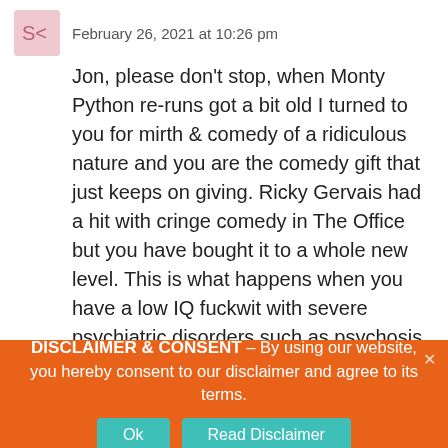February 26, 2021 at 10:26 pm
Jon, please don't stop, when Monty Python re-runs got a bit old I turned to you for mirth & comedy of a ridiculous nature and you are the comedy gift that just keeps on giving. Ricky Gervais had a hit with cringe comedy in The Office but you have bought it to a whole new level. This is what happens when you have a low IQ fuckwit with severe psychiatric disorders such as psychosis, narcissism & delusions.
😸 6 😾
DISCLAIMER & CONSENT – By using our website, you hereby consent to our disclaimer and agree to its terms.
Ok
Read Disclaimer